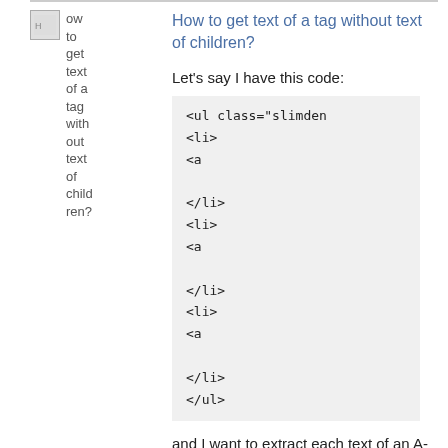How to get text of a tag without text of children?
Let's say I have this code:
<ul class="slimdem
    <li>
            <a
    </li>
    <li>
            <a
    </li>
    <li>
            <a
    </li>
</ul>
and I want to extract each text of an A-tag. but not with the text of the I-tag, how to do this?